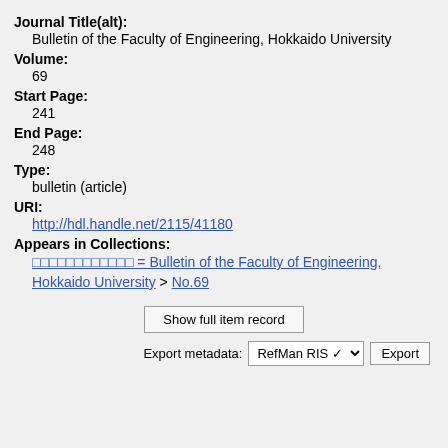Journal Title(alt):
Bulletin of the Faculty of Engineering, Hokkaido University
Volume:
69
Start Page:
241
End Page:
248
Type:
bulletin (article)
URI:
http://hdl.handle.net/2115/41180
Appears in Collections:
□□□□□□□□□□□□ = Bulletin of the Faculty of Engineering, Hokkaido University > No.69
Show full item record
Export metadata: RefMan RIS Export